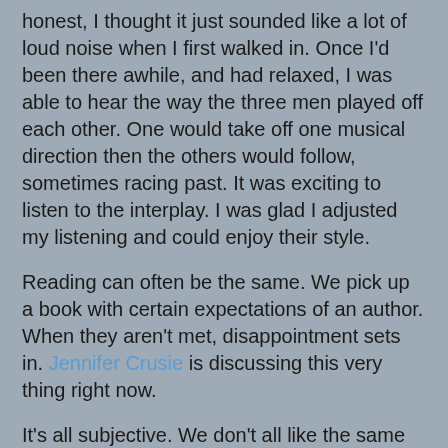honest, I thought it just sounded like a lot of loud noise when I first walked in. Once I'd been there awhile, and had relaxed, I was able to hear the way the three men played off each other. One would take off one musical direction then the others would follow, sometimes racing past. It was exciting to listen to the interplay. I was glad I adjusted my listening and could enjoy their style.
Reading can often be the same. We pick up a book with certain expectations of an author. When they aren't met, disappointment sets in. Jennifer Crusie is discussing this very thing right now.
It's all subjective. We don't all like the same things. Add to that the fact that people read for different reasons; comfort, entertainment, educational. I have books from multiple genres for a variety of moods. It's the same for music.
There's a trend to find something that works then clone the living hell out of it. Even as a writer, I look to what's popular - style, voice and subject matter. I rarely fit in that category but I've always looked to include elements that people are